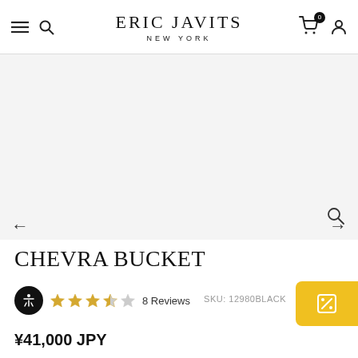ERIC JAVITS NEW YORK
[Figure (other): Product image area - empty/light gray background for CHEVRA BUCKET hat product photo]
CHEVRA BUCKET
3.5 stars · 8 Reviews · SKU: 12980BLACK
¥41,000 JPY